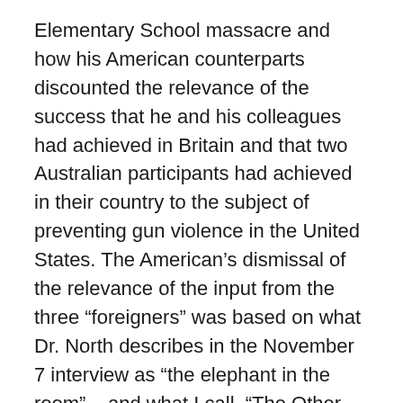Elementary School massacre and how his American counterparts discounted the relevance of the success that he and his colleagues had achieved in Britain and that two Australian participants had achieved in their country to the subject of preventing gun violence in the United States. The American's dismissal of the relevance of the input from the three “foreigners” was based on what Dr. North describes in the November 7 interview as “the elephant in the room” – and what I call, “The Other Big Lie” – namely, the claim, unchallenged by the American participants in the conference, that the Second Amendment confers an individual right to own guns. (Dr. North and the two Australian participants, Rebecca Peters and Philip Alpers, all wrote lucid chapters in the compendium